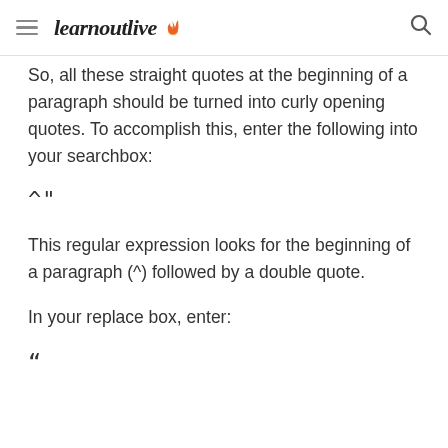learnoutlive
So, all these straight quotes at the beginning of a paragraph should be turned into curly opening quotes. To accomplish this, enter the following into your searchbox:
This regular expression looks for the beginning of a paragraph (^) followed by a double quote.
In your replace box, enter: